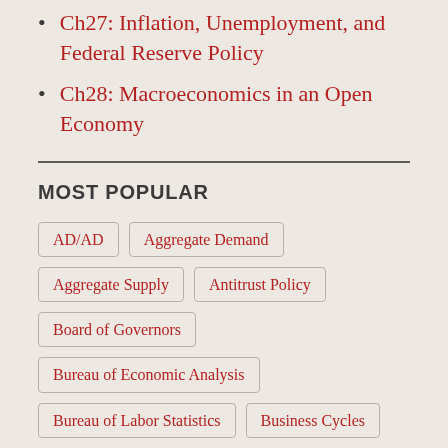Ch27: Inflation, Unemployment, and Federal Reserve Policy
Ch28: Macroeconomics in an Open Economy
MOST POPULAR
AD/AD
Aggregate Demand
Aggregate Supply
Antitrust Policy
Board of Governors
Bureau of Economic Analysis
Bureau of Labor Statistics
Business Cycles